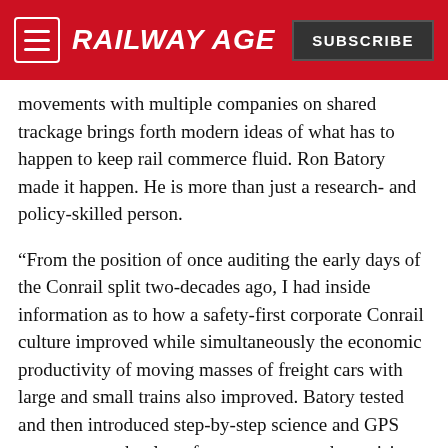RAILWAY AGE | SUBSCRIBE
movements with multiple companies on shared trackage brings forth modern ideas of what has to happen to keep rail commerce fluid. Ron Batory made it happen. He is more than just a research- and policy-skilled person.
“From the position of once auditing the early days of the Conrail split two-decades ago, I had inside information as to how a safety-first corporate Conrail culture improved while simultaneously the economic productivity of moving masses of freight cars with large and small trains also improved. Batory tested and then introduced step-by-step science and GPS movement technology for – more network precision and train origin and destination points. The long-term result was